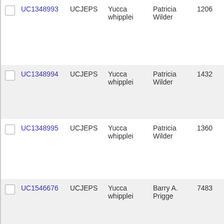| ☐ | UC1348993 | UCJEPS | Yucca whipplei | Patricia Wilder | 1206 |
| ☐ | UC1348994 | UCJEPS | Yucca whipplei | Patricia Wilder | 1432 |
| ☐ | UC1348995 | UCJEPS | Yucca whipplei | Patricia Wilder | 1360 |
| ☐ | UC1546676 | UCJEPS | Yucca whipplei | Barry A. Prigge | 7483 |